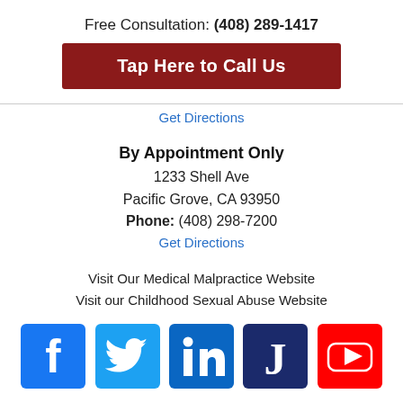Free Consultation: (408) 289-1417
Tap Here to Call Us
Get Directions
By Appointment Only
1233 Shell Ave
Pacific Grove, CA 93950
Phone: (408) 298-7200
Get Directions
Visit Our Medical Malpractice Website
Visit our Childhood Sexual Abuse Website
[Figure (infographic): Social media icons: Facebook (blue), Twitter (light blue), LinkedIn (dark blue), Justia (dark navy J), YouTube (red)]